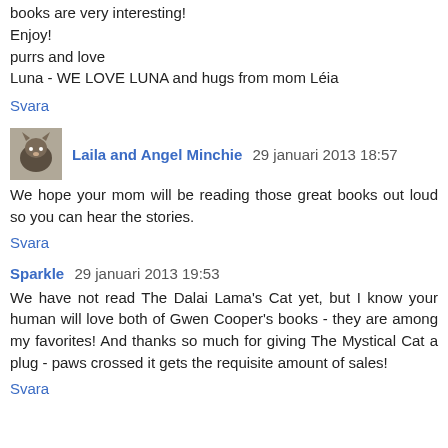books are very interesting!
Enjoy!
purrs and love
Luna - WE LOVE LUNA and hugs from mom Léia
Svara
Laila and Angel Minchie  29 januari 2013 18:57
We hope your mom will be reading those great books out loud so you can hear the stories.
Svara
Sparkle  29 januari 2013 19:53
We have not read The Dalai Lama's Cat yet, but I know your human will love both of Gwen Cooper's books - they are among my favorites! And thanks so much for giving The Mystical Cat a plug - paws crossed it gets the requisite amount of sales!
Svara